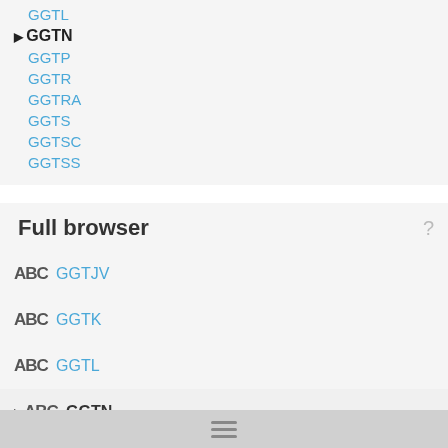GGTL
GGTN (current, selected)
GGTP
GGTR
GGTRA
GGTS
GGTSC
GGTSS
Full browser
ABC GGTJV
ABC GGTK
ABC GGTL
ABC GGTN (current)
ABC GGTP
ABC GGTR
ABC GGTRA